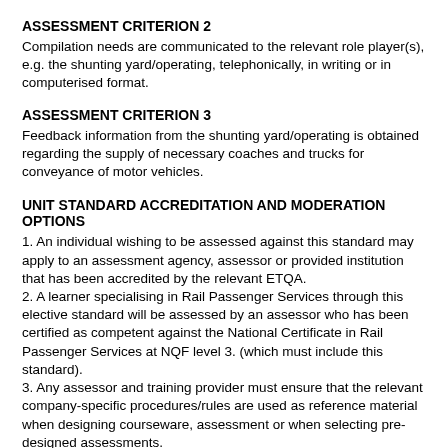ASSESSMENT CRITERION 2
Compilation needs are communicated to the relevant role player(s), e.g. the shunting yard/operating, telephonically, in writing or in computerised format.
ASSESSMENT CRITERION 3
Feedback information from the shunting yard/operating is obtained regarding the supply of necessary coaches and trucks for conveyance of motor vehicles.
UNIT STANDARD ACCREDITATION AND MODERATION OPTIONS
1. An individual wishing to be assessed against this standard may apply to an assessment agency, assessor or provided institution that has been accredited by the relevant ETQA.
2. A learner specialising in Rail Passenger Services through this elective standard will be assessed by an assessor who has been certified as competent against the National Certificate in Rail Passenger Services at NQF level 3. (which must include this standard).
3. Any assessor and training provider must ensure that the relevant company-specific procedures/rules are used as reference material when designing courseware, assessment or when selecting pre-designed assessments.
4. Anyone assessing a learner against this standard must be registered as an assessor with the relevant TRANSPORT SETA - ETQA.
5. Any institution offering learning that will enable achievement of this standard must be registered and accredited as a provider at SAQA.
6. Moderation of assessment will be done by the relevant ETQA as